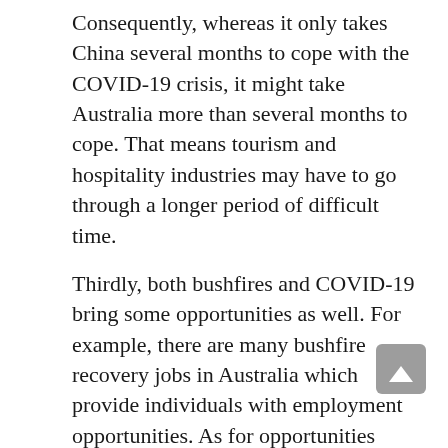Consequently, whereas it only takes China several months to cope with the COVID-19 crisis, it might take Australia more than several months to cope. That means tourism and hospitality industries may have to go through a longer period of difficult time.
Thirdly, both bushfires and COVID-19 bring some opportunities as well. For example, there are many bushfire recovery jobs in Australia which provide individuals with employment opportunities. As for opportunities brought by COVID-19, although many employees in the tourism and hospitality industries have lost their jobs, major supermarkets are employing many more employees, meaning a lot of employees in the tourism and hospitality industry can find new jobs in supermarkets. In this way, many people can develop relevant skills which may generate benefits for their future careers. Furthermore, some employees who work from home can cultivate their IT skills, thereby fostering